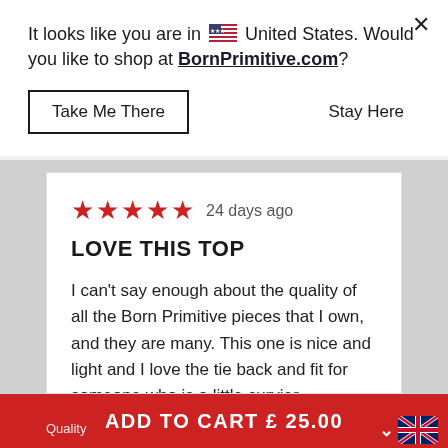It looks like you are in 🇺🇸 United States. Would you like to shop at BornPrimitive.com?
Take Me There
Stay Here
24 days ago
LOVE THIS TOP
I can't say enough about the quality of all the Born Primitive pieces that I own, and they are many. This one is nice and light and I love the tie back and fit for someone who is a little curvier
ADD TO CART £ 25.00
Quality